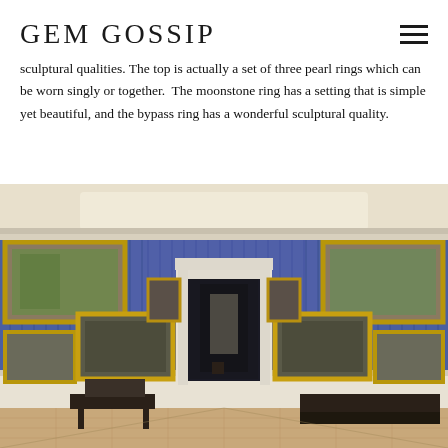GEM GOSSIP
sculptural qualities. The top is actually a set of three pearl rings which can be worn singly or together.  The moonstone ring has a setting that is simple yet beautiful, and the bypass ring has a wonderful sculptural quality.
[Figure (photo): Interior view of a museum or palace gallery room with blue draped walls covered in gilded-frame paintings arranged salon-style. A white ornate doorway leads to a corridor. Parquet wood floor in the foreground with antique dark wood furniture (a decorative table on the left and a dresser on the right).]